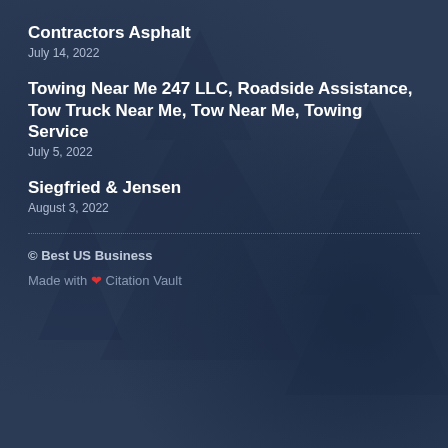Contractors Asphalt
July 14, 2022
Towing Near Me 247 LLC, Roadside Assistance, Tow Truck Near Me, Tow Near Me, Towing Service
July 5, 2022
Siegfried & Jensen
August 3, 2022
© Best US Business
Made with ❤ Citation Vault